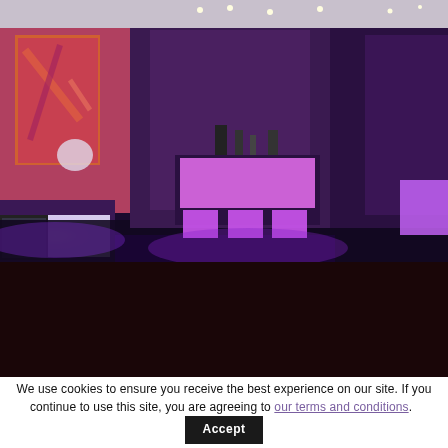[Figure (photo): Interior of a bar/reception area with purple and pink LED lighting illuminating a reception desk and bar stools. Colorful artwork visible on the left wall. Dark floor with dramatic accent lighting.]
[Figure (photo): Interior room with warm orange/amber and blue illuminated wall panels or artworks hanging on a dark wall with ceiling spotlights.]
We use cookies to ensure you receive the best experience on our site. If you continue to use this site, you are agreeing to our terms and conditions.
Accept